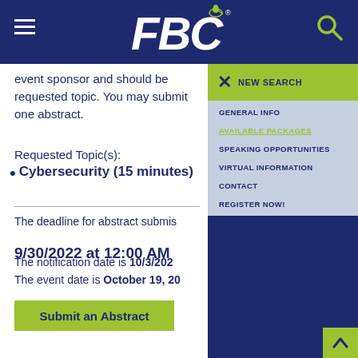FBC
event sponsor and should be requested topic. You may submit one abstract.
Requested Topic(s):
Cybersecurity (15 minutes)
The deadline for abstract submission is 9/30/2022 at 12:00 AM
The notification date is 10/3/2022
The event date is October 19, 20...
Submit an Abstract